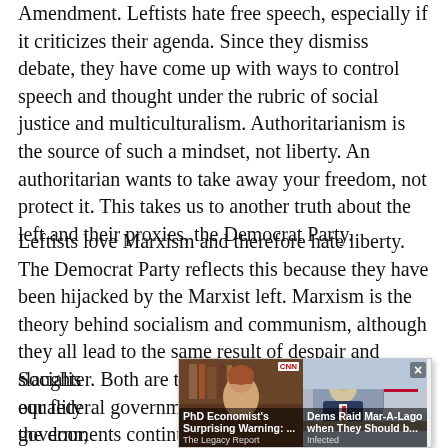Amendment. Leftists hate free speech, especially if it criticizes their agenda. Since they dismiss debate, they have come up with ways to control speech and thought under the rubric of social justice and multiculturalism. Authoritarianism is the source of such a mindset, not liberty. An authoritarian wants to take away your freedom, not protect it. This takes us to another truth about the left and their proxies, the Democrat Party.
Leftists love Marxism and therefore hate liberty. The Democrat Party reflects this because they have been hijacked by the Marxist left. Marxism is the theory behind socialism and communism, although they all lead to the same result of despair and slaughter. Both are the antithesis to capitalism, yet our federal government and many of our state governments continue to fornicate with socialism. Obamacare, anyone?
Socialism... of equality... down the door,... ork for his bene... one full
[Figure (screenshot): Ad overlay with two side-by-side sponsored article thumbnails. Left: 'PhD Economist's Surprising Warning: ...' from The Legacy Report, showing a woman. Right: 'Dems Raid Mar-A-Lago when They Should b...' from Infected, showing a man at a desk with an American flag. A close button (×) appears at top right.]